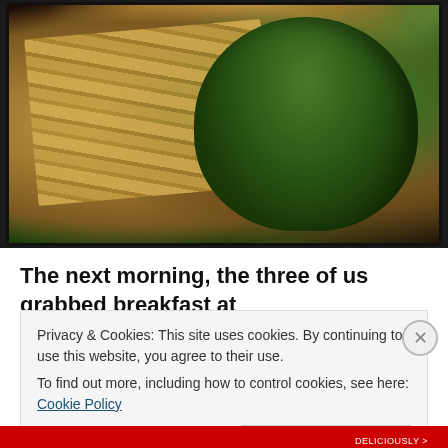[Figure (photo): A food photograph showing a green spinach/herb wrap cut in half revealing chicken and vegetable filling, served alongside thick-cut french fries on a white plate on a wooden board, dark background]
The next morning, the three of us grabbed breakfast at
Privacy & Cookies: This site uses cookies. By continuing to use this website, you agree to their use.
To find out more, including how to control cookies, see here: Cookie Policy
Close and accept